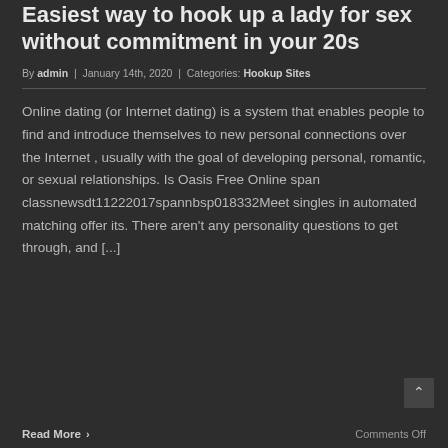Easiest way to hook up a lady for sex without commitment in your 20s
By admin | January 14th, 2020 | Categories: Hookup Sites
Online dating (or Internet dating) is a system that enables people to find and introduce themselves to new personal connections over the Internet , usually with the goal of developing personal, romantic, or sexual relationships. Is Oasis Free Online span classnewsdt11222017spannbsp018332Meet singles in automated matching offer its. There aren't any personality questions to get through, and [...]
Read More ›
Comments Off